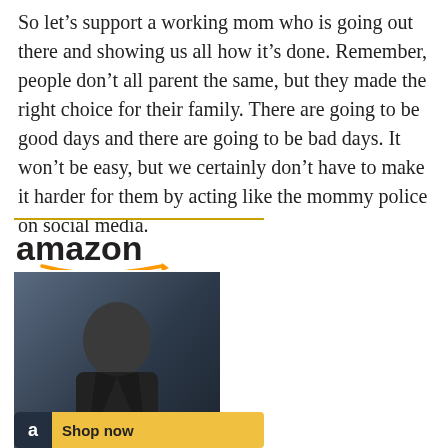So let’s support a working mom who is going out there and showing us all how it’s done. Remember, people don’t all parent the same, but they made the right choice for their family. There are going to be good days and there are going to be bad days. It won’t be easy, but we certainly don’t have to make it harder for them by acting like the mommy police on social media.
[Figure (other): Amazon advertisement widget showing the Amazon logo with orange arrow, a book cover image for 'I'll Never Change My Name' by Valentin Chmerkovskiy priced at $27.94, and a Shop now button.]